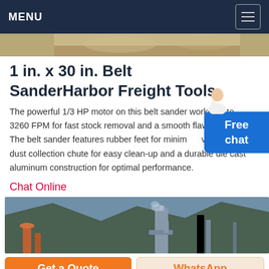MENU
[Figure (photo): Partial top strip image of outdoor industrial/construction scene]
1 in. x 30 in. Belt SanderHarbor Freight Tools
The powerful 1/3 HP motor on this belt sander works up to 3260 FPM for fast stock removal and a smooth flawless finish. The belt sander features rubber feet for minimum vibration a dust collection chute for easy clean-up and a durable die cast aluminum construction for optimal performance.
[Figure (illustration): Free chat widget with avatar of a female customer service representative]
Chat Online
[Figure (photo): Industrial outdoor scene with mountains, silos, and pipes]
Get a Quote
WhatsApp